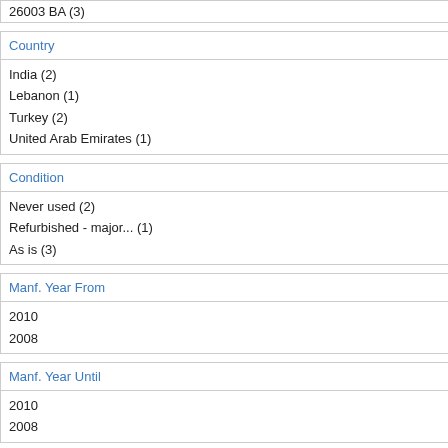26003 BA (3)
Country
India (2)
Lebanon (1)
Turkey (2)
United Arab Emirates (1)
Condition
Never used (2)
Refurbished - major... (1)
As is (3)
Manf. Year From
2010
2008
Manf. Year Until
2010
2008
Price Range (USD)
400-500 (1)
Item D...
Device
Manuf.
Model
985409698
Device
Manuf.
Model
615647961
Device
Manuf.
Model
842853524
Device
Manuf.
Model
342853594
Device
Manuf.